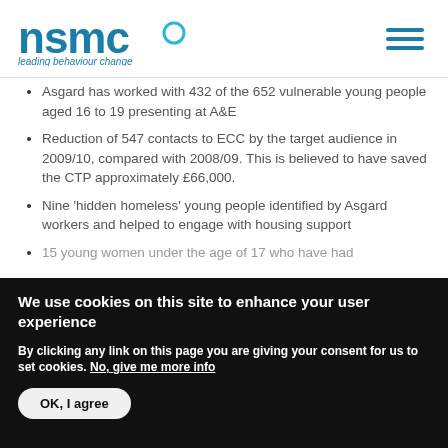nsmc leading behaviour change
Asgard has worked with 432 of the 652 vulnerable young people aged 16 to 19 presenting at A&E
Reduction of 547 contacts to ECC by the target audience in 2009/10, compared with 2008/09. This is believed to have saved the CTP approximately £66,000.
Nine 'hidden homeless' young people identified by Asgard workers and helped to engage with housing support
15 young women under the age of 17 who have had...
We use cookies on this site to enhance your user experience
By clicking any link on this page you are giving your consent for us to set cookies. No, give me more info
OK, I agree